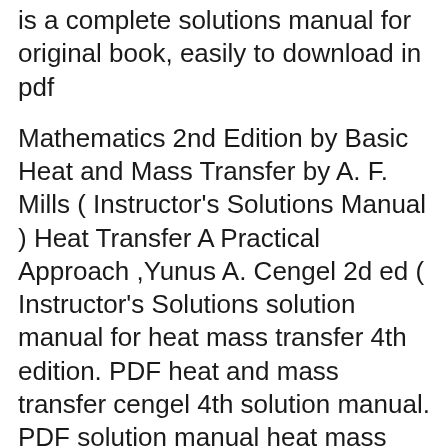4th edition Incropera Solutions Manual is a complete solutions manual for original book, easily to download in pdf
Mathematics 2nd Edition by Basic Heat and Mass Transfer by A. F. Mills ( Instructor's Solutions Manual ) Heat Transfer A Practical Approach ,Yunus A. Cengel 2d ed ( Instructor's Solutions solution manual for heat mass transfer 4th edition. PDF heat and mass transfer cengel 4th solution manual. PDF solution manual heat mass transfer 2nd cengel. Fundamentals of Heat and Mass Transfer Bergman Lavine Incropera DeWitt 7th edition solutions manual $32.00. Add To Cart. 4. Chemical Reactions and Chemical Reactors